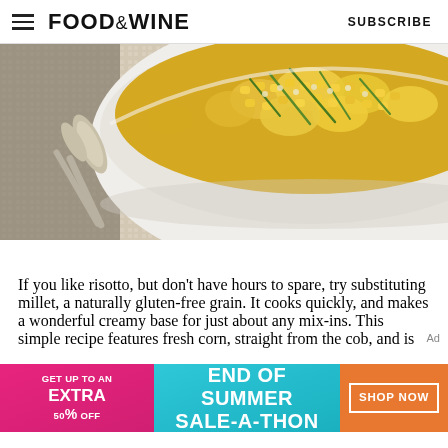FOOD&WINE  SUBSCRIBE
[Figure (photo): Close-up photo of a white bowl filled with a corn and millet risotto dish, garnished with green chives. A silver spoon rests beside the bowl on a white textured cloth.]
If you like risotto, but don't have hours to spare, try substituting millet, a naturally gluten-free grain. It cooks quickly, and makes a wonderful creamy base for just about any mix-ins. This simple recipe features fresh corn, straight from the cob, and is
[Figure (infographic): Advertisement banner: 'GET UP TO AN EXTRA 50% OFF' on pink background, 'END OF SUMMER SALE-A-THON' on teal/cyan background, 'SHOP NOW' button on orange background.]